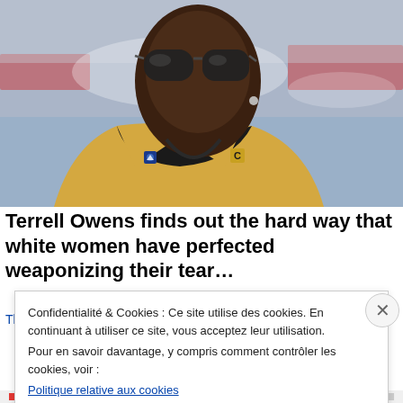[Figure (photo): A man wearing sunglasses and a gold/tan blazer with pins, looking upward, against a blurred crowd background.]
Terrell Owens finds out the hard way that white women have perfected weaponizing their tear…
The Grio
Confidentialité & Cookies : Ce site utilise des cookies. En continuant à utiliser ce site, vous acceptez leur utilisation.
Pour en savoir davantage, y compris comment contrôler les cookies, voir :
Politique relative aux cookies
Fermer et accepter